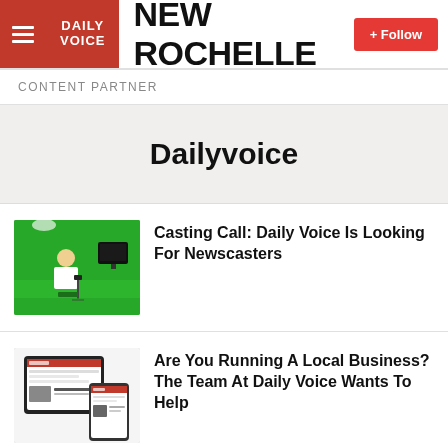NEW ROCHELLE
CONTENT PARTNER
Dailyvoice
[Figure (photo): Person working with camera equipment in a green screen TV studio]
Casting Call: Daily Voice Is Looking For Newscasters
[Figure (screenshot): Screenshot of Daily Voice website shown on a tablet and phone device]
Are You Running A Local Business? The Team At Daily Voice Wants To Help